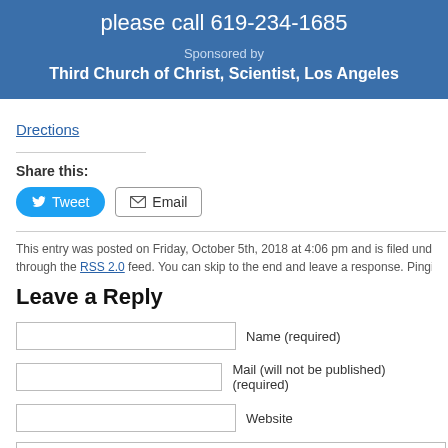please call 619-234-1685
Sponsored by Third Church of Christ, Scientist, Los Angeles
Drections
Share this:
Tweet  Email
This entry was posted on Friday, October 5th, 2018 at 4:06 pm and is filed under Ne through the RSS 2.0 feed. You can skip to the end and leave a response. Pinging is
Leave a Reply
Name (required)
Mail (will not be published) (required)
Website